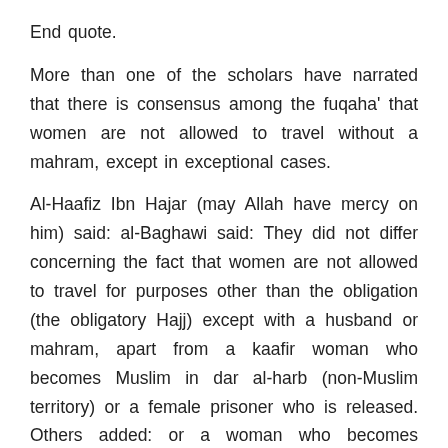End quote.
More than one of the scholars have narrated that there is consensus among the fuqaha' that women are not allowed to travel without a mahram, except in exceptional cases.
Al-Haafiz Ibn Hajar (may Allah have mercy on him) said: al-Baghawi said: They did not differ concerning the fact that women are not allowed to travel for purposes other than the obligation (the obligatory Hajj) except with a husband or mahram, apart from a kaafir woman who becomes Muslim in dar al-harb (non-Muslim territory) or a female prisoner who is released. Others added: or a woman who becomes separated from her travelling companions and is